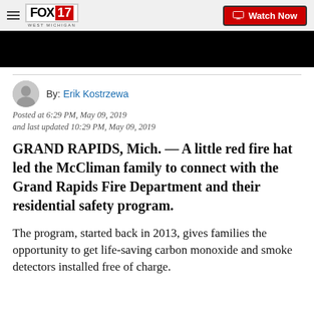FOX 17 WEST MICHIGAN | Watch Now
[Figure (photo): Black video player area]
By: Erik Kostrzewa
Posted at 6:29 PM, May 09, 2019
and last updated 10:29 PM, May 09, 2019
GRAND RAPIDS, Mich. — A little red fire hat led the McCliman family to connect with the Grand Rapids Fire Department and their residential safety program.
The program, started back in 2013, gives families the opportunity to get life-saving carbon monoxide and smoke detectors installed free of charge.